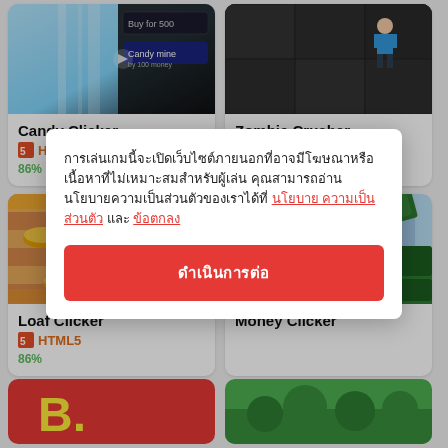[Figure (screenshot): Candy Clicker game thumbnail - blue background with dark game UI]
Candy Clicker
HTML5
86% · 47,149 votes
[Figure (screenshot): Zombie Crusher game thumbnail - dark stone background with character]
Zombie Crusher
HTML5
82% · 2,339 votes
[Figure (screenshot): Loaf Clicker game thumbnail - bread clicker game with loaves of bread]
Loaf Clicker
HTML5
86%
[Figure (screenshot): Money Clicker game thumbnail - character running with money bills]
Money Clicker
Modal dialog with Korean/non-Latin text and a red button
[Figure (screenshot): Bottom left partial game card - red and yellow]
[Figure (screenshot): Bottom right partial game card - green forest/nature theme]